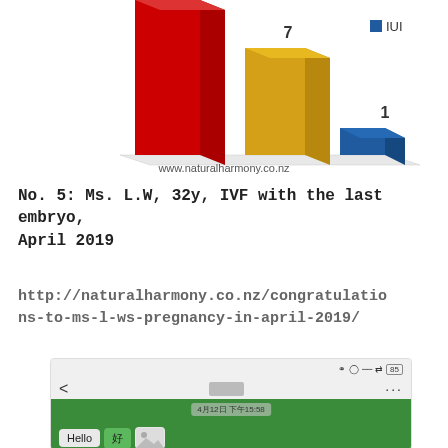[Figure (bar-chart): Partial bar chart showing three bars (red, gold/yellow, blue labeled IUI=1). Value 7 on gold bar, value 1 on blue bar. Website label: www.naturalharmony.co.nz]
No. 5: Ms. L.W, 32y, IVF with the last embryo, April 2019
http://naturalharmony.co.nz/congratulations-to-ms-l-ws-pregnancy-in-april-2019/
[Figure (screenshot): WeChat/messaging app screenshot showing: status bar with Bluetooth, clock, signal icons. Back arrow, blurred contact avatar, ellipsis. Green chat background with timestamp '4月12日 下午15:58', message bubble 'Hello', response bubble with Chinese character '好', and an image thumbnail.]